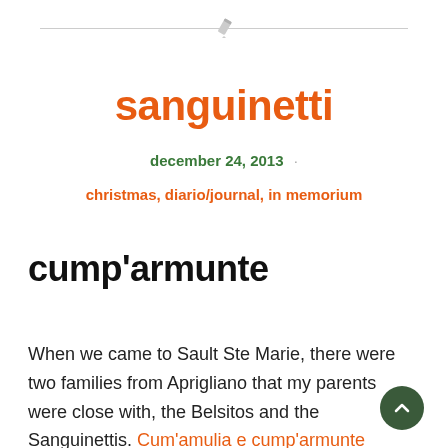sanguinetti
december 24, 2013
christmas, diario/journal, in memorium
cump'armunte
When we came to Sault Ste Marie, there were two families from Aprigliano that my parents were close with, the Belsitos and the Sanguinettis. Cum'amulia e cump'armunte Sanguinetti lived on James Street the immigrant neighborhood next to the steel-mill in the